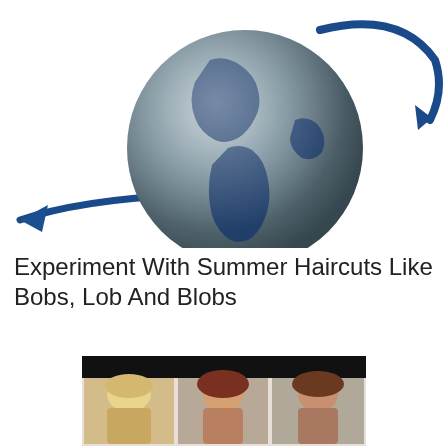[Figure (logo): A metallic globe with blue arrow/shooting star graphic wrapping around it diagonally, representing a global news or web portal logo]
Experiment With Summer Haircuts Like Bobs, Lob And Blobs
[Figure (photo): A collage of three women showing different bob/lob/blob haircut styles — blonde short bob, dark red medium bob, and brown straight bob — with a black banner at the top of the image]